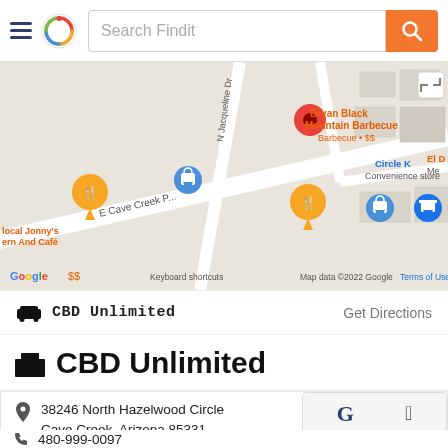Search Findit
[Figure (map): Google Maps screenshot showing the area around Bryan Black Mountain Barbecue, with location pins for Local Jonny's Western And Café, Circle K convenience store, and other markers along E Cave Creek Pkwy and N Jacqueline Dr. Map data ©2022 Google.]
CBD Unlimited  Get Directions
CBD Unlimited
38246 North Hazelwood Circle
Cave Creek, Arizona 85331
United States
480-999-0097